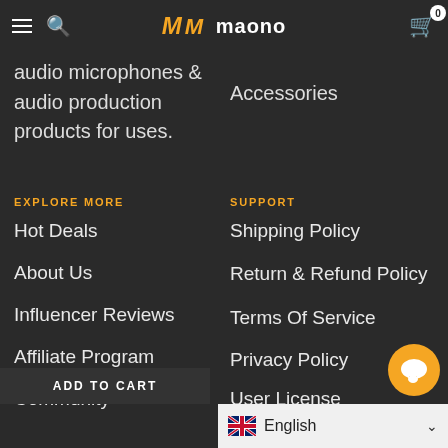maono
audio microphones & audio production products for uses.
Accessories
EXPLORE MORE
SUPPORT
Hot Deals
Shipping Policy
About Us
Return & Refund Policy
Influencer Reviews
Terms Of Service
Affiliate Program
Privacy Policy
Community
User License Agreement
ADD TO CART
English